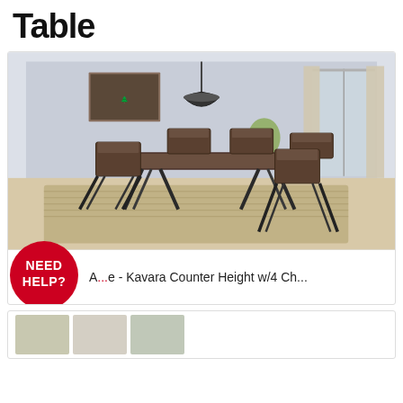Table
[Figure (photo): A dining room set with a counter-height rectangular table and 6 folding chairs with X-frame metal legs, brown wood tops, pendant light, rug, against a light gray wall.]
[Figure (illustration): Red circular 'NEED HELP?' speech bubble badge]
A... e - Kavara Counter Height w/4 Ch...
[Figure (photo): Three small thumbnail images of furniture sets at the bottom of the page.]